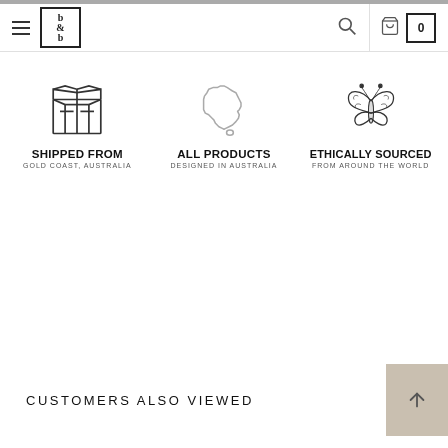[Figure (logo): b&b logo in a bordered box with hamburger menu icon]
[Figure (infographic): Three feature icons: shipped from box icon, Australia map icon, butterfly icon with text labels SHIPPED FROM GOLD COAST AUSTRALIA, ALL PRODUCTS DESIGNED IN AUSTRALIA, ETHICALLY SOURCED FROM AROUND THE WORLD]
CUSTOMERS ALSO VIEWED